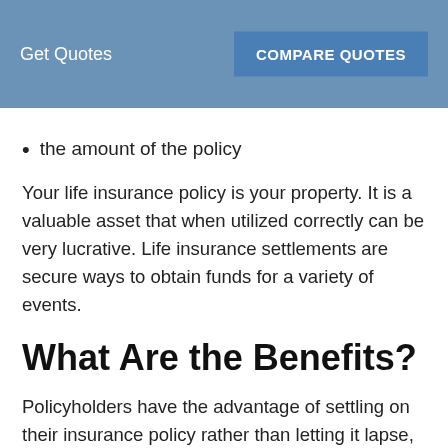Get Quotes   COMPARE QUOTES
the amount of the policy
Your life insurance policy is your property. It is a valuable asset that when utilized correctly can be very lucrative. Life insurance settlements are secure ways to obtain funds for a variety of events.
What Are the Benefits?
Policyholders have the advantage of settling on their insurance policy rather than letting it lapse, terminate, or surrender. The type of policy (term or permanent) is irrelevant in regards to what types of policies can policyholders sell. However, different types of policies